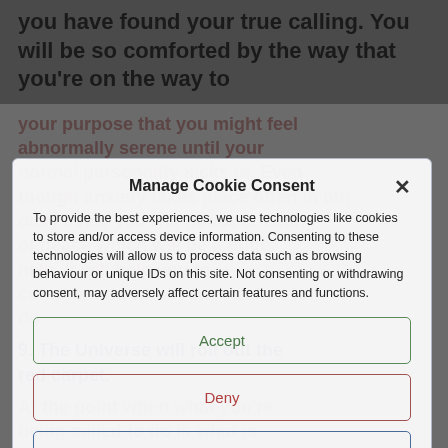you have found your true calling. You will be so comforted by the way that you're on the way to
your purpose that you might feel abnormally serene until your normal personality kicks in. Even though anxiety takes place often in our daily lives, you will notice a feeling of peace which will be a huge help. It will help you to comprehend what you're called to do.
9. The Universe will roll out the red carpet.
At the point when what you're being called to do is what is required for the great of all
Manage Cookie Consent
To provide the best experiences, we use technologies like cookies to store and/or access device information. Consenting to these technologies will allow us to process data such as browsing behaviour or unique IDs on this site. Not consenting or withdrawing consent, may adversely affect certain features and functions.
Accept
Deny
View preferences
Cookie Policy   Privacy Statement